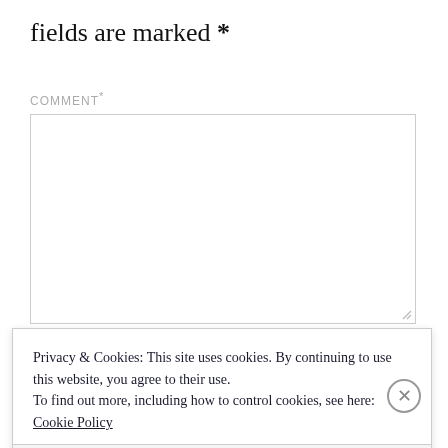fields are marked *
COMMENT *
[Figure (screenshot): Empty textarea input box for comment field]
NAME *
[Figure (screenshot): Cookie consent modal: Privacy & Cookies: This site uses cookies. By continuing to use this website, you agree to their use. To find out more, including how to control cookies, see here: Cookie Policy. Close and accept button.]